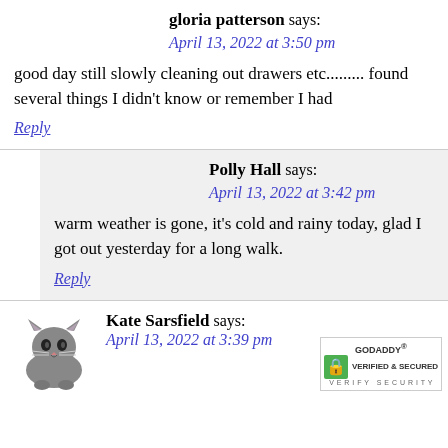gloria patterson says:
April 13, 2022 at 3:50 pm
good day still slowly cleaning out drawers etc......... found several things I didn't know or remember I had
Reply
Polly Hall says:
April 13, 2022 at 3:42 pm
warm weather is gone, it's cold and rainy today, glad I got out yesterday for a long walk.
Reply
Kate Sarsfield says:
April 13, 2022 at 3:39 pm
[Figure (illustration): Small gray cat/kitten avatar photo]
[Figure (logo): GoDaddy Verified & Secured badge]